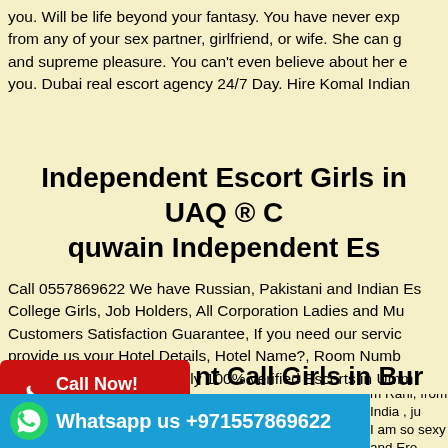you. Will be life beyond your fantasy. You have never experienced from any of your sex partner, girlfriend, or wife. She can give you real and supreme pleasure. You can't even believe about her excitement for you. Dubai real escort agency 24/7 Day. Hire Komal Indian
Independent Escort Girls in UAQ ® C quwain Independent Es
Call 0557869622 We have Russian, Pakistani and Indian Es College Girls, Job Holders, All Corporation Ladies and Mu Customers Satisfaction Guarantee, If you need our servic provide us your Hotel Details, Hotel Name?, Room Numb name?. We are provide only 100% verified Escorts in Umm Call Girl in Umm al Quwain UAQ.
[Figure (infographic): Red Call Now banner with phone icon and +971557869622]
nt Call Girls in Bur Dubai Bur Dubai  Independen
[Figure (infographic): Blue WhatsApp banner with WhatsApp icon and text: Whatsapp us +971557869622]
m Rani, from India , ju I am so sexy and Ero